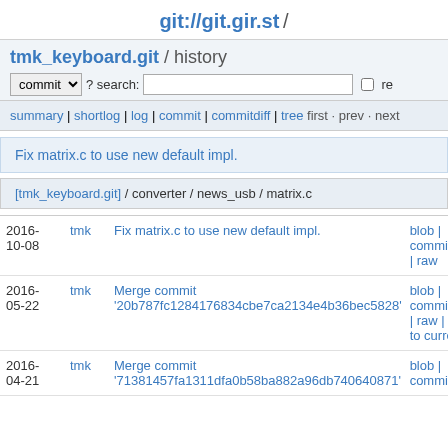git://git.gir.st /
tmk_keyboard.git / history
commit ? search: re
summary | shortlog | log | commit | commitdiff | tree first · prev · next
Fix matrix.c to use new default impl.
[tmk_keyboard.git] / converter / news_usb / matrix.c
| date | author | message | links |
| --- | --- | --- | --- |
| 2016-10-08 | tmk | Fix matrix.c to use new default impl. | blob | commitd | raw |
| 2016-05-22 | tmk | Merge commit '20b787fc1284176834cbe7ca2134e4b36bec5828' | blob | commito | raw | d to curre |
| 2016-04-21 | tmk | Merge commit '71381457fa1311dfa0b58ba882a96db740640871' | blob | commito |